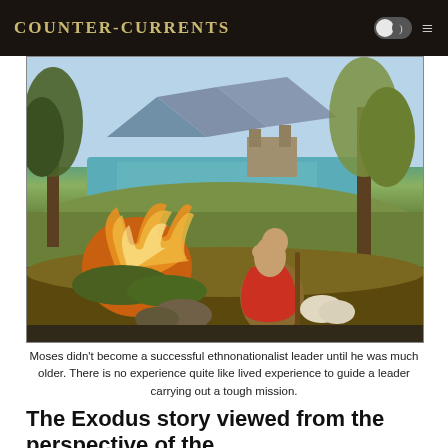Counter-Currents
[Figure (illustration): Classical oil painting depicting Moses and the Burning Bush. A robed figure with red cloak sits near a burning bush on the lower left, set against a landscape with a body of water, castle, mountains, and trees.]
Moses didn't become a successful ethnonationalist leader until he was much older. There is no experience quite like lived experience to guide a leader carrying out a tough mission.
The Exodus story viewed from the perspective of the